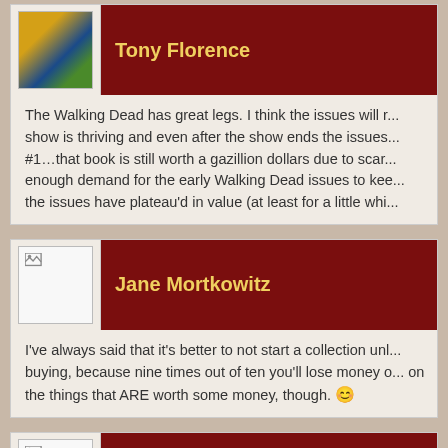Tony Florence
The Walking Dead has great legs. I think the issues will r... show is thriving and even after the show ends the issues... #1…that book is still worth a gazillion dollars due to scar... enough demand for the early Walking Dead issues to kee... the issues have plateau'd in value (at least for a little whi...
Jane Mortkowitz
I've always said that it's better to not start a collection unl... buying, because nine times out of ten you'll lose money o... on the things that ARE worth some money, though. 😊
Brian Baird
it's weird growing up in the 80's and 90's of comic book-d...